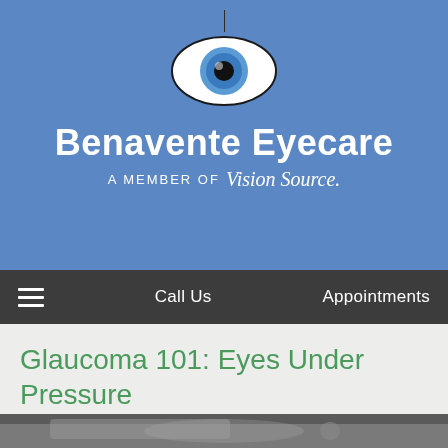[Figure (logo): Benavente Eyecare logo with eye icon, brand name, and Vision Source member text on blue background]
Call Us   Appointments
Glaucoma 101: Eyes Under Pressure
[Figure (photo): Close-up photograph of a metallic eye-shaped object or sculpture]